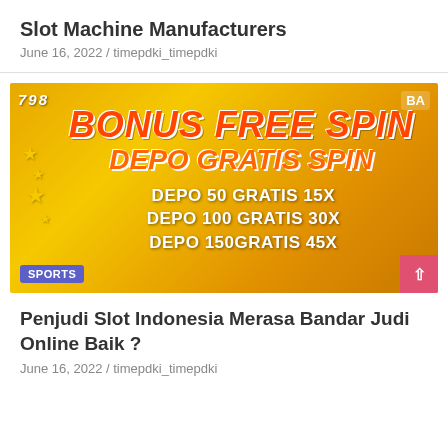Slot Machine Manufacturers
June 16, 2022 / timepdki_timepdki
[Figure (illustration): Golden casino advertisement banner with text BONUS FREE SPIN, DEPO GRATIS SPIN, DEPO 50 GRATIS 15X, DEPO 100 GRATIS 30X, DEPO 150GRATIS 45X with a SPORTS badge in bottom left corner]
Penjudi Slot Indonesia Merasa Bandar Judi Online Baik ?
June 16, 2022 / timepdki_timepdki